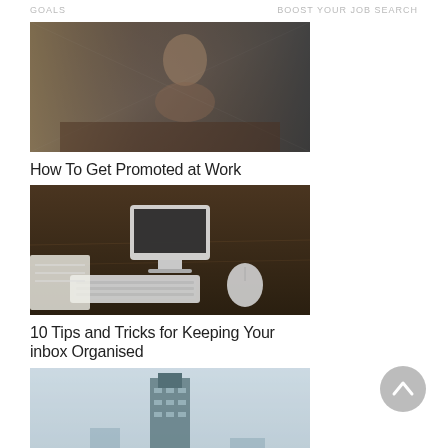GOALS   BOOST YOUR JOB SEARCH
[Figure (photo): Woman's face reflected in or behind glass, blurred urban background]
How To Get Promoted at Work
[Figure (photo): Apple iMac computer with keyboard and mouse on a dark wood desk]
10 Tips and Tricks for Keeping Your inbox Organised
[Figure (photo): Tall skyscraper viewed through a window with blurred foreground]
8 Steps to Managing a Crisis at Work
[Figure (photo): Cup of tea with decorative flower on a table, blurred warm background]